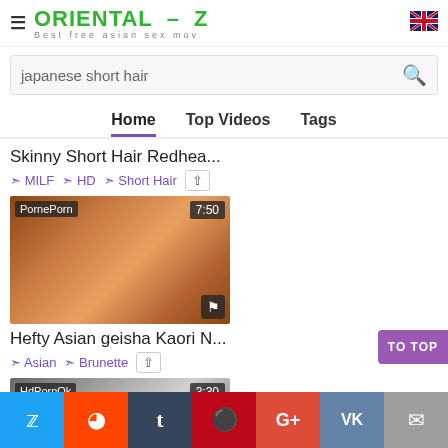ORIENTAL – Z  Best free asian sex mov
japanese short hair
Home  Top Videos  Tags
Skinny Short Hair Redhea...
MILF  HD  Short Hair
[Figure (screenshot): Video thumbnail labeled PornePorn, duration 7:50, with flag icon]
Hefty Asian geisha Kaori N...
Asian  Brunette
[Figure (screenshot): Video thumbnail labeled HdPornOk, duration 3:30]
Twitter  Reddit  Tumblr  Pinterest  G+  VK  Email